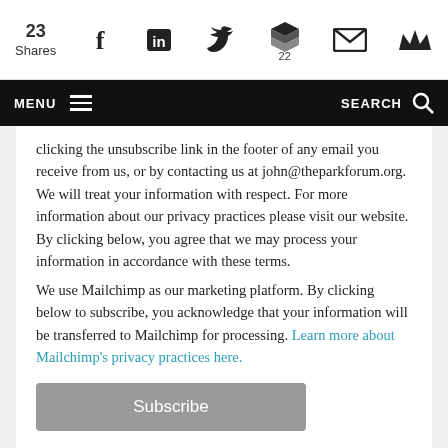23 Shares | Facebook | LinkedIn | Twitter | Buffer (22) | Email | Crown
MENU | SEARCH
clicking the unsubscribe link in the footer of any email you receive from us, or by contacting us at john@theparkforum.org. We will treat your information with respect. For more information about our privacy practices please visit our website. By clicking below, you agree that we may process your information in accordance with these terms.
We use Mailchimp as our marketing platform. By clicking below to subscribe, you acknowledge that your information will be transferred to Mailchimp for processing. Learn more about Mailchimp's privacy practices here.
Subscribe